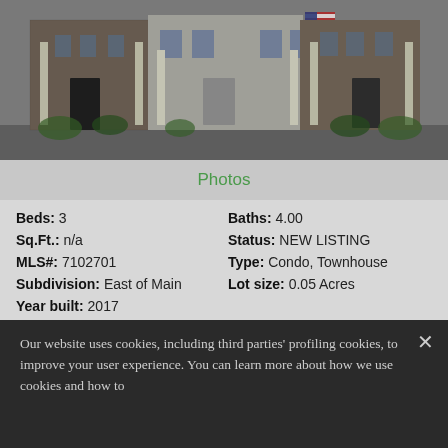[Figure (photo): Exterior photo of a townhouse / condo row with brick and siding facade, American flag, white columns, and landscaping]
Photos
Beds: 3   Baths: 4.00
Sq.Ft.: n/a   Status: NEW LISTING
MLS#: 7102701   Type: Condo, Townhouse
Subdivision: East of Main   Lot size: 0.05 Acres
Year built: 2017
View Details
Our website uses cookies, including third parties' profiling cookies, to improve your user experience. You can learn more about how we use cookies and how to